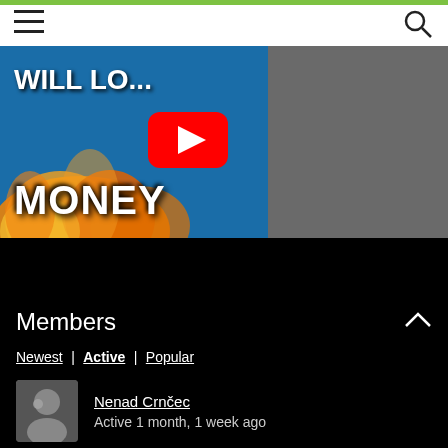[Figure (screenshot): Navigation bar with hamburger menu and search icon]
[Figure (photo): YouTube video thumbnail showing text WILL LOSE MONEY and MONEY in large white letters over flames, with a man's face on the right side. A YouTube play button is overlaid in the center.]
Members
Newest | Active | Popular
Nenad Crnčec
Active 1 month, 1 week ago